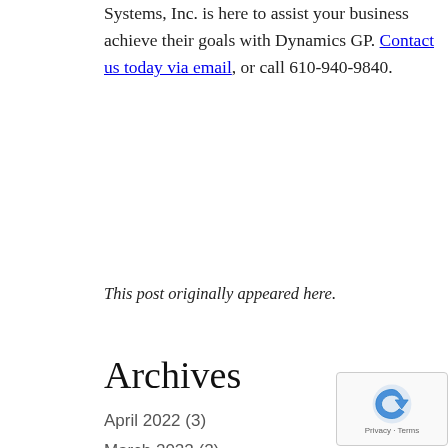Systems, Inc. is here to assist your business achieve their goals with Dynamics GP. Contact us today via email, or call 610-940-9840.
This post originally appeared here.
Archives
April 2022 (3)
March 2022 (2)
February 2022 (1)
December 2021 (2)
November 2021 (1)
October 2021 (1)